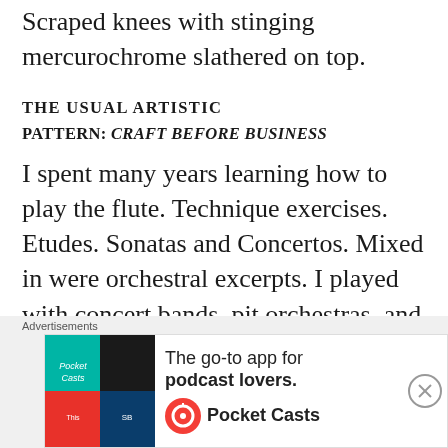Scraped knees with stinging mercurochrome slathered on top.
THE USUAL ARTISTIC
PATTERN: CRAFT BEFORE BUSINESS
I spent many years learning how to play the flute. Technique exercises. Etudes. Sonatas and Concertos. Mixed in were orchestral excerpts. I played with concert bands, pit orchestras, and symphonies. I had private lessons, masterclasses,
[Figure (other): Advertisement banner for Pocket Casts app: 'The go-to app for podcast lovers.' with Pocket Casts logo and colorful app icon. Label 'Advertisements' above.]